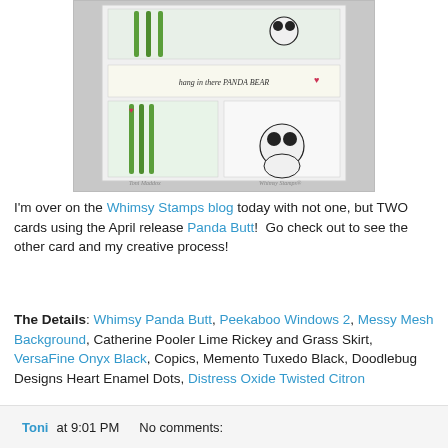[Figure (photo): A handmade panda card with bamboo and heart decorations, using Whimsy Stamps products. Watermarks read 'Toni Maddox' and 'Whimsy Stamps'.]
I'm over on the Whimsy Stamps blog today with not one, but TWO cards using the April release Panda Butt!  Go check out to see the other card and my creative process!
The Details: Whimsy Panda Butt, Peekaboo Windows 2, Messy Mesh Background, Catherine Pooler Lime Rickey and Grass Skirt, VersaFine Onyx Black, Copics, Memento Tuxedo Black, Doodlebug Designs Heart Enamel Dots, Distress Oxide Twisted Citron
Toni at 9:01 PM    No comments: